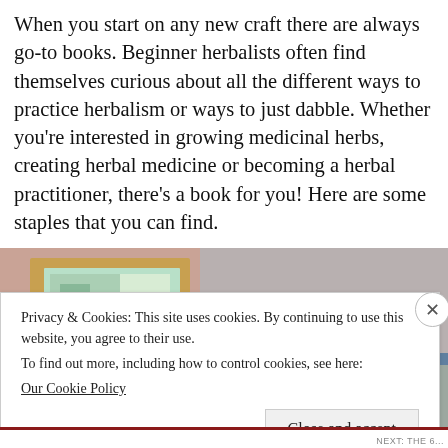When you start on any new craft there are always go-to books. Beginner herbalists often find themselves curious about all the different ways to practice herbalism or ways to just dabble. Whether you're interested in growing medicinal herbs, creating herbal medicine or becoming a herbal practitioner, there's a book for you! Here are some staples that you can find.
[Figure (photo): Photo of a white mortar and pestle bowl on a table with a framed picture in the background, soft natural light]
Privacy & Cookies: This site uses cookies. By continuing to use this website, you agree to their use.
To find out more, including how to control cookies, see here:
Our Cookie Policy